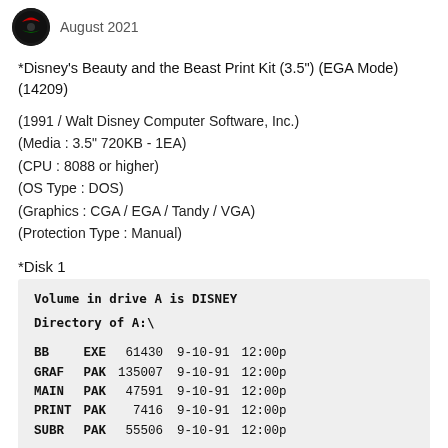August 2021
*Disney's Beauty and the Beast Print Kit (3.5") (EGA Mode) (14209)
(1991 / Walt Disney Computer Software, Inc.)
(Media : 3.5" 720KB - 1EA)
(CPU : 8088 or higher)
(OS Type : DOS)
(Graphics : CGA / EGA / Tandy / VGA)
(Protection Type : Manual)
*Disk 1
| Name | Ext | Size | Date | Time |
| --- | --- | --- | --- | --- |
| BB | EXE | 61430 | 9-10-91 | 12:00p |
| GRAF | PAK | 135007 | 9-10-91 | 12:00p |
| MAIN | PAK | 47591 | 9-10-91 | 12:00p |
| PRINT | PAK | 7416 | 9-10-91 | 12:00p |
| SUBR | PAK | 55506 | 9-10-91 | 12:00p |